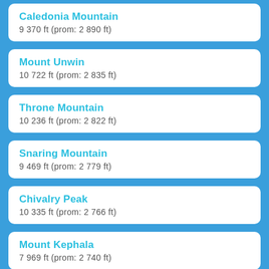Caledonia Mountain
9 370 ft (prom: 2 890 ft)
Mount Unwin
10 722 ft (prom: 2 835 ft)
Throne Mountain
10 236 ft (prom: 2 822 ft)
Snaring Mountain
9 469 ft (prom: 2 779 ft)
Chivalry Peak
10 335 ft (prom: 2 766 ft)
Mount Kephala
7 969 ft (prom: 2 740 ft)